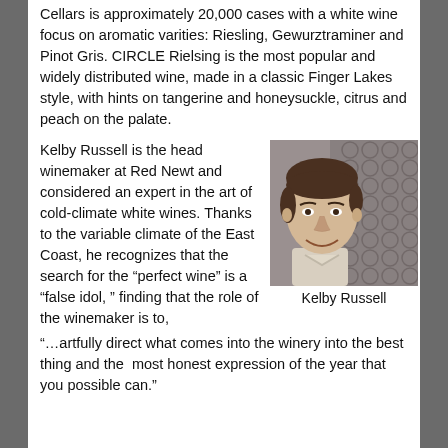Cellars is approximately 20,000 cases with a white wine focus on aromatic varities: Riesling, Gewurztraminer and Pinot Gris. CIRCLE Rielsing is the most popular and widely distributed wine, made in a classic Finger Lakes style, with hints on tangerine and honeysuckle, citrus and peach on the palate.
Kelby Russell is the head winemaker at Red Newt and considered an expert in the art of cold-climate white wines. Thanks to the variable climate of the East Coast, he recognizes that the search for the “perfect wine” is a “false idol, ” finding that the role of the winemaker is to, “…artfully direct what comes into the winery into the best thing and the most honest expression of the year that you possible can.”
[Figure (photo): Portrait photo of Kelby Russell, a young man with dark brown hair, smiling, wearing a light-colored shirt, with a decorative circular pattern background.]
Kelby Russell